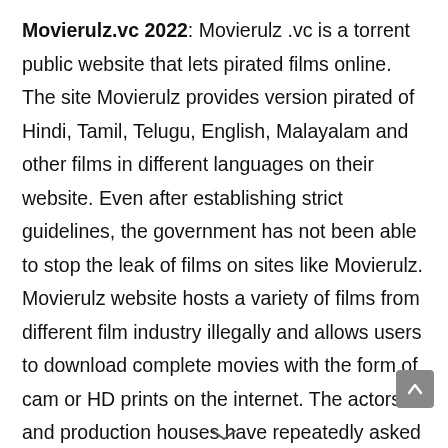Movierulz.vc 2022: Movierulz .vc is a torrent public website that lets pirated films online. The site Movierulz provides version pirated of Hindi, Tamil, Telugu, English, Malayalam and other films in different languages on their website. Even after establishing strict guidelines, the government has not been able to stop the leak of films on sites like Movierulz. Movierulz website hosts a variety of films from different film industry illegally and allows users to download complete movies with the form of cam or HD prints on the internet. The actors and production houses have repeatedly asked the public to stop encouraging piracy through websites such as Movierulz and to only watch films in cinemas. Disclaimer This content is intended meant